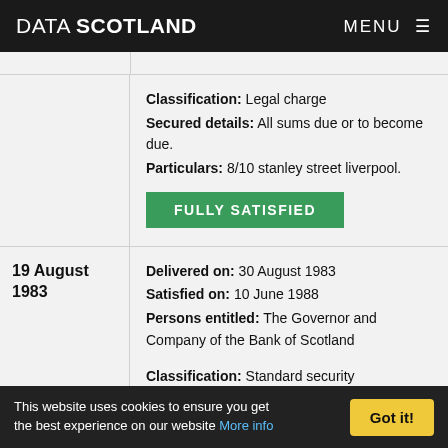DATA SCOTLAND  MENU
Classification: Legal charge
Secured details: All sums due or to become due.
Particulars: 8/10 stanley street liverpool.
FULLY SATISFIED
19 August 1983
Delivered on: 30 August 1983
Satisfied on: 10 June 1988
Persons entitled: The Governor and Company of the Bank of Scotland
Classification: Standard security
Secured details: All sums due or to become due.
This website uses cookies to ensure you get the best experience on our website More info  Got it!